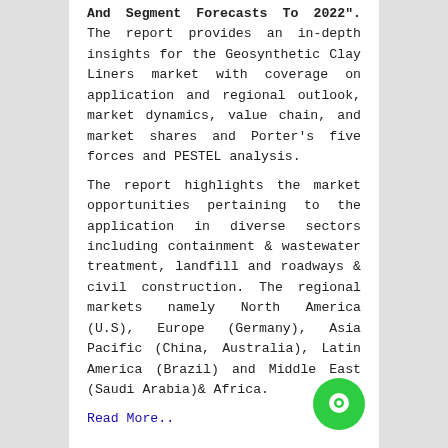And Segment Forecasts To 2022". The report provides an in-depth insights for the Geosynthetic Clay Liners market with coverage on application and regional outlook, market dynamics, value chain, and market shares and Porter's five forces and PESTEL analysis.
The report highlights the market opportunities pertaining to the application in diverse sectors including containment & wastewater treatment, landfill and roadways & civil construction. The regional markets namely North America (U.S), Europe (Germany), Asia Pacific (China, Australia), Latin America (Brazil) and Middle East (Saudi Arabia)& Africa.
Read More..